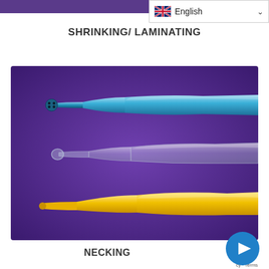English (language selector)
SHRINKING/ LAMINATING
[Figure (photo): Three heat-shrink tubes on a purple background: a blue tube with multi-bore end (top), a transparent/clear tube (middle), and a yellow tube (bottom), each shown partially shrunk/necked at one end.]
NECKING